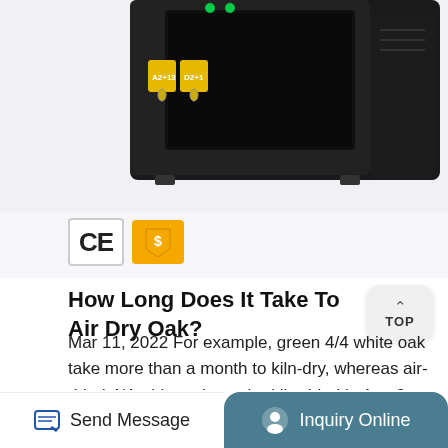[Figure (photo): Partial view of a black industrial microwave oven or kiln-drying machine, showing yellow-tagged keys/locks on the front panel, viewed from above at an angle. Background is light grey/white.]
[Figure (logo): CE certification mark in a bordered box, and a gold Alibaba/trade assurance badge icon next to it.]
How Long Does It Take To Air Dry Oak?
Mar 11, 2022 For example, green 4/4 white oak take more than a month to kiln-dry, whereas air-dried 4/4 white oak can be kiln-dried in 1 to 2 weeks depending on the temperature. ... How to Dry Wood in a Microwave Oven (with Pictures) Reduce the power of the microwave to its lowest setting.
Send Message
Inquiry Online